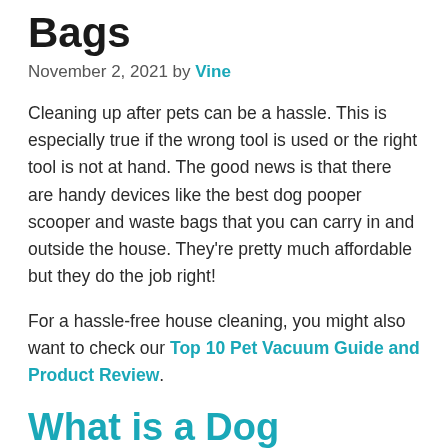Bags
November 2, 2021 by Vine
Cleaning up after pets can be a hassle. This is especially true if the wrong tool is used or the right tool is not at hand. The good news is that there are handy devices like the best dog pooper scooper and waste bags that you can carry in and outside the house. They’re pretty much affordable but they do the job right!
For a hassle-free house cleaning, you might also want to check our Top 10 Pet Vacuum Guide and Product Review.
What is a Dog Pooper